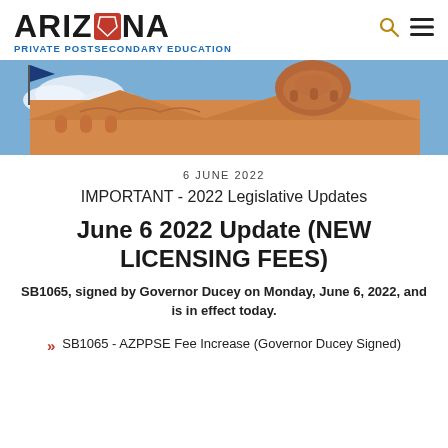ARIZONA PRIVATE POSTSECONDARY EDUCATION
[Figure (photo): Exterior photo of Arizona State Capitol building roofline with dome, classical architectural details, blue sky and clouds, with a flag visible at top left.]
6 JUNE 2022
IMPORTANT - 2022 Legislative Updates
June 6 2022 Update (NEW LICENSING FEES)
SB1065, signed by Governor Ducey on Monday, June 6, 2022, and is in effect today.
SB1065 - AZPPSE Fee Increase (Governor Ducey Signed)